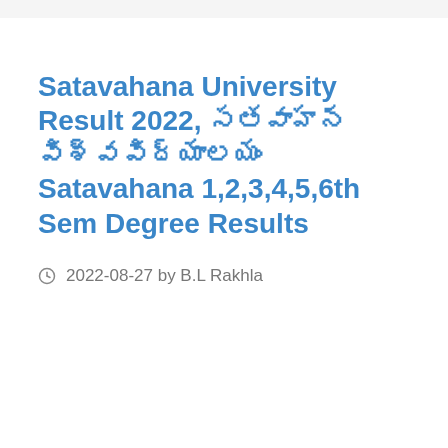Satavahana University Result 2022, సతవాహన విశ్వవిద్యాలయం Satavahana 1,2,3,4,5,6th Sem Degree Results
2022-08-27 by B.L Rakhla